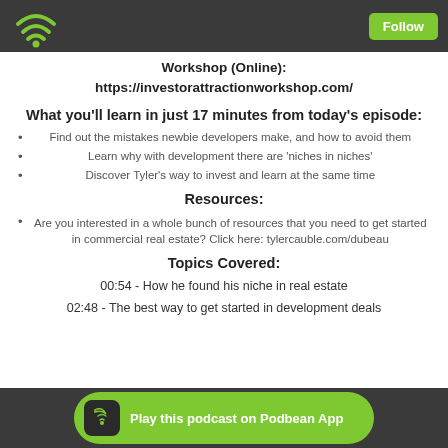Follow
Workshop (Online):
https://investorattractionworkshop.com/
What you'll learn in just 17 minutes from today's episode:
Find out the mistakes newbie developers make, and how to avoid them
Learn why with development there are 'niches in niches'
Discover Tyler's way to invest and learn at the same time
Resources:
Are you interested in a whole bunch of resources that you need to get started in commercial real estate? Click here: tylercauble.com/dubeau
Topics Covered:
00:54 - How he found his niche in real estate
02:48 - The best way to get started in development deals
Play this podcast on Podbean App